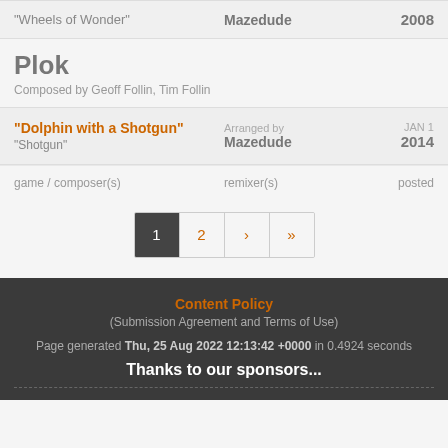| game / composer(s) | remixer(s) | posted |
| --- | --- | --- |
| "Wheels of Wonder" | Mazedude | 2008 |
| Plok
Composed by Geoff Follin, Tim Follin |  |  |
| "Dolphin with a Shotgun" / "Shotgun" | Arranged by
Mazedude | JAN 1
2014 |
game / composer(s)    remixer(s)    posted
[Figure (other): Pagination controls: page 1 (active/dark), page 2, next (›), last (»)]
Content Policy
(Submission Agreement and Terms of Use)
Page generated Thu, 25 Aug 2022 12:13:42 +0000 in 0.4924 seconds
Thanks to our sponsors...